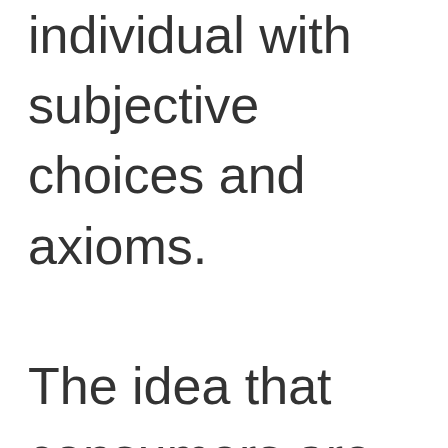individual with subjective choices and axioms. The idea that consumers are dumb or stupid is